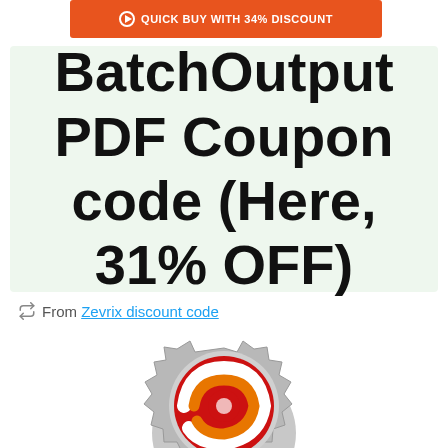QUICK BUY WITH 34% DISCOUNT
BatchOutput PDF Coupon code (Here, 31% OFF)
From Zevrix discount code
[Figure (logo): Gear-shaped logo with red, orange, and white spiral/swirl design in the center, on a silver/grey gear background]